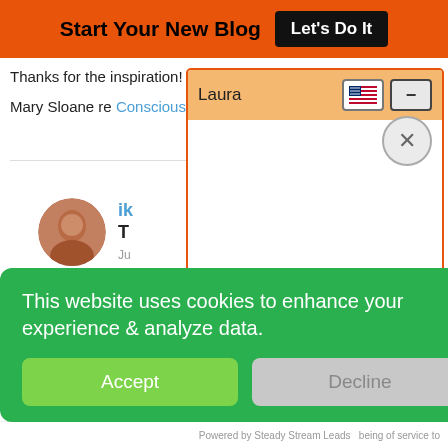Start Your New Blog  Let's Do It
Thanks for the inspiration!
Mary Sloane re... Conscious Min...
[Figure (photo): Circular avatar photo of a person]
ik... T... Ju...
Hi Mary
[Figure (screenshot): Laura chat popup with orange header, US flag button, minus button, and X close button]
This website uses cookies to enhance your experience & analyze data.
Accept
Decline
Powered by Steady Stream Leads    being of service to